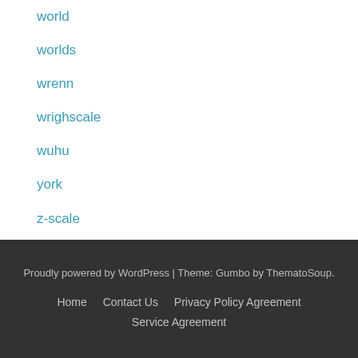world
worlds
wrenn
wrighscale
wuhu
york
z-scale
Proudly powered by WordPress | Theme: Gumbo by ThematoSoup. Home  Contact Us  Privacy Policy Agreement  Service Agreement